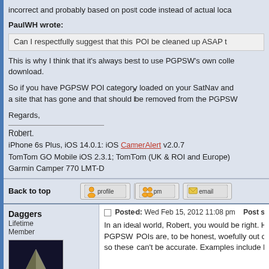incorrect and probably based on post code instead of actual loca
PaulWH wrote:
Can I respectfully suggest that this POI be cleaned up ASAP t
This is why I think that it's always best to use PGPSW's own colle download.
So if you have PGPSW POI category loaded on your SatNav and a site that has gone and that should be removed from the PGPSW
Regards,
Robert.
iPhone 6s Plus, iOS 14.0.1: iOS CamerAlert v2.0.7
TomTom GO Mobile iOS 2.3.1; TomTom (UK & ROI and Europe)
Garmin Camper 770 LMT-D
Back to top
[Figure (other): profile, pm, email buttons]
Daggers
Lifetime Member
[Figure (photo): Avatar: dark background with pyramid and spheres]
Posted: Wed Feb 15, 2012 11:08 pm    Post subject:
In an ideal world, Robert, you would be right. However, the POIs PGPSW POIs are, to be honest, woefully out of date. There are s so these can't be accurate. Examples include Borders, MEI, Thr